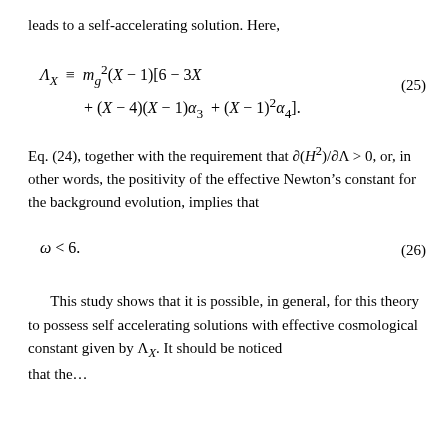leads to a self-accelerating solution. Here,
Eq. (24), together with the requirement that ∂(H²)/∂Λ > 0, or, in other words, the positivity of the effective Newton's constant for the background evolution, implies that
This study shows that it is possible, in general, for this theory to possess self accelerating solutions with effective cosmological constant given by ΛX. It should be noticed that the…